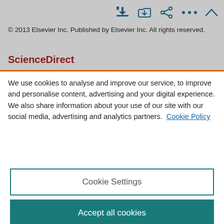© 2013 Elsevier Inc. Published by Elsevier Inc. All rights reserved.
ScienceDirect
We use cookies to analyse and improve our service, to improve and personalise content, advertising and your digital experience. We also share information about your use of our site with our social media, advertising and analytics partners.  Cookie Policy
Cookie Settings
Accept all cookies